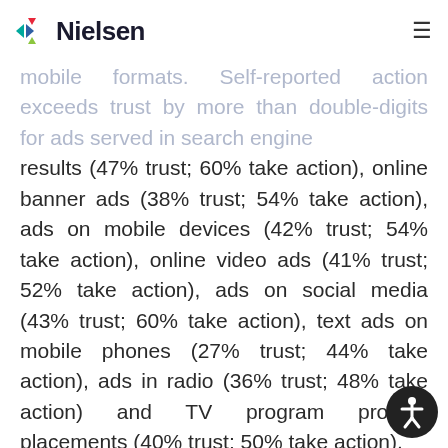Nielsen
mobile formats. Self-reported action exceeds trust by more than double-digits for ads served in search engine results (47% trust; 60% take action), online banner ads (38% trust; 54% take action), ads on mobile devices (42% trust; 54% take action), online video ads (41% trust; 52% take action), ads on social media (43% trust; 60% take action), text ads on mobile phones (27% trust; 44% take action), ads in radio (36% trust; 48% take action) and TV program product placements (40% trust; 50% take action).
“The formats where action exceeds trust by the greatest margin share a common attribute: easy access to products/services,” said Chen. “You like it, you buy it. Online and mobile formats make it exceptionally easy for consumers to live in the moment and take quick action on the advertisement. Often, consumers simply